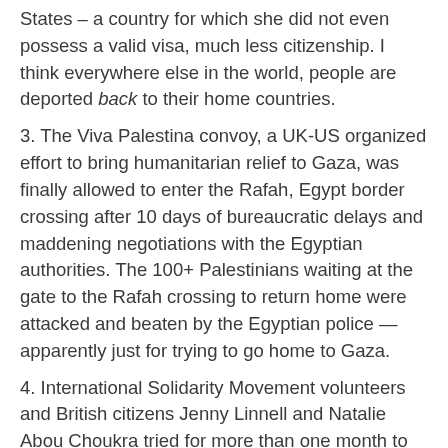States – a country for which she did not even possess a valid visa, much less citizenship.  I think everywhere else in the world, people are deported back to their home countries.
3. The Viva Palestina convoy, a UK-US organized effort to bring humanitarian relief to Gaza, was finally allowed to enter the Rafah, Egypt border crossing after 10 days of bureaucratic delays and maddening negotiations with the Egyptian authorities.  The 100+ Palestinians waiting at the gate to the Rafah crossing to return home were attacked and beaten by the Egyptian police — apparently just for  trying to go home to Gaza.
4. International Solidarity Movement volunteers  and British citizens Jenny Linnell and  Natalie Abou Choukra tried for more than one month to leave Gaza to return to the UK.  They repeatedly went to the border after having been assured by the